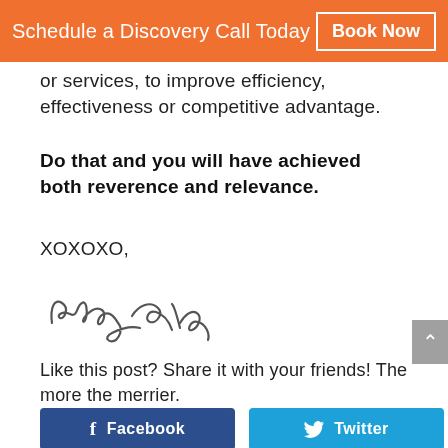Schedule a Discovery Call Today  Book Now
or services, to improve efficiency, effectiveness or competitive advantage.
Do that and you will have achieved both reverence and relevance.
XOXOXO,
[Figure (illustration): Handwritten cursive signature reading 'Becky']
Like this post? Share it with your friends! The more the merrier.
Facebook  Twitter